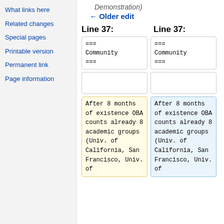What links here
Related changes
Special pages
Printable version
Permanent link
Page information
Demonstration)
← Older edit
Line 37:
Line 37:
| === Community === | === Community === |
|  |  |
| After 8 months of existence OBA counts already 8 academic groups (Univ. of California, San Francisco, Univ. of | After 8 months of existence OBA counts already 8 academic groups (Univ. of California, San Francisco, Univ. of |